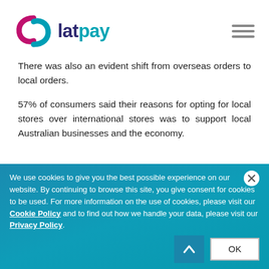[Figure (logo): Latpay logo with stylized S-curve icon in magenta and teal, followed by text 'latpay' in dark navy and teal]
There was also an evident shift from overseas orders to local orders.
57% of consumers said their reasons for opting for local stores over international stores was to support local Australian businesses and the economy.
We use cookies to give you the best possible experience on our website. By continuing to browse this site, you give consent for cookies to be used. For more information on the use of cookies, please visit our Cookie Policy and to find out how we handle your data, please visit our Privacy Policy.